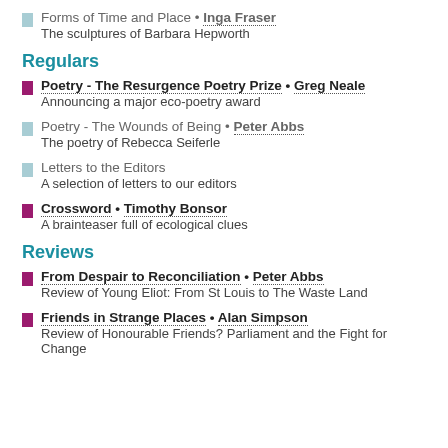Forms of Time and Place • Inga Fraser — The sculptures of Barbara Hepworth
Regulars
Poetry - The Resurgence Poetry Prize • Greg Neale — Announcing a major eco-poetry award
Poetry - The Wounds of Being • Peter Abbs — The poetry of Rebecca Seiferle
Letters to the Editors — A selection of letters to our editors
Crossword • Timothy Bonsor — A brainteaser full of ecological clues
Reviews
From Despair to Reconciliation • Peter Abbs — Review of Young Eliot: From St Louis to The Waste Land
Friends in Strange Places • Alan Simpson — Review of Honourable Friends? Parliament and the Fight for Change